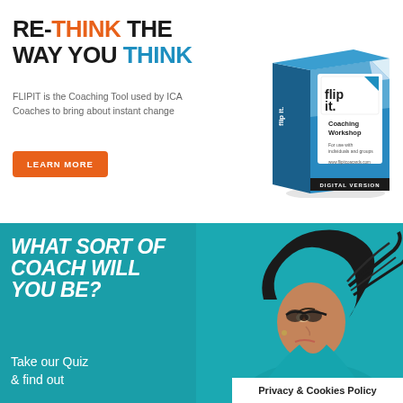RE-THINK THE WAY YOU THINK
FLIPIT is the Coaching Tool used by ICA Coaches to bring about instant change
LEARN MORE
[Figure (photo): FlipIt Coaching Workshop product box — blue box with 'flip it.' logo and 'Coaching Workshop' text, Digital Version label at bottom]
WHAT SORT OF COACH WILL YOU BE?
Take our Quiz & find out
[Figure (photo): Woman with dark hair blowing back, looking upward, wearing teal top, against teal/turquoise background]
Privacy & Cookies Policy